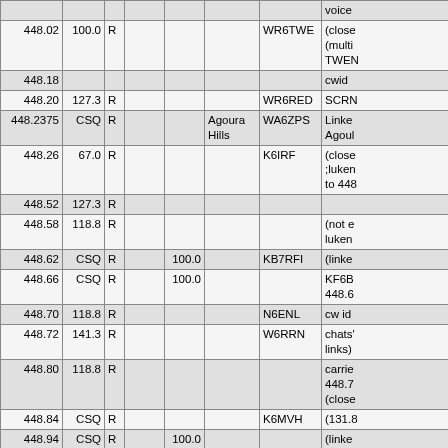| Freq | Tone | Mode | Col4 | Col5 | Location | Callsign | Notes |
| --- | --- | --- | --- | --- | --- | --- | --- |
|  |  |  |  |  |  |  | voice |
| 448.02 | 100.0 | R |  |  |  | WR6TWE | (close (multi TWEN |
| 448.18 |  |  |  |  |  |  | cwid |
| 448.20 | 127.3 | R |  |  |  | WR6RED | SCRN |
| 448.2375 | CSQ | R |  |  | Agoura Hills | WA6ZPS | Linke Agoul |
| 448.26 | 67.0 | R |  |  |  | K6IRF | (close ;luken to 448 |
| 448.52 | 127.3 | R |  |  |  |  |  |
| 448.58 | 118.8 | R |  |  |  |  | (not e luken |
| 448.62 | CSQ | R |  | 100.0 |  | KB7RFI | (linke |
| 448.66 | CSQ | R |  | 100.0 |  |  | KF6B 448.6 |
| 448.70 | 118.8 | R |  |  |  | N6ENL | cw id |
| 448.72 | 141.3 | R |  |  |  | W6RRN | chats' links) |
| 448.80 | 118.8 | R |  |  |  |  | carrie 448.7 (close |
| 448.84 | CSQ | R |  |  |  | K6MVH | (131.8 |
| 448.94 | CSQ | R |  | 100.0 |  |  | (linke delay |